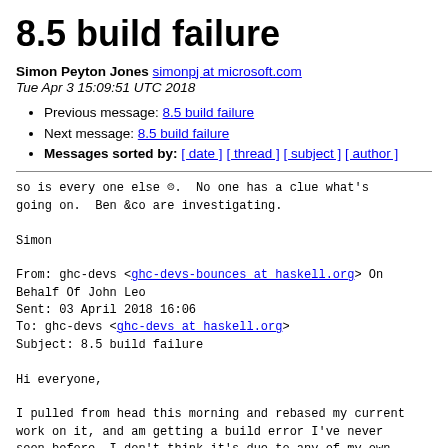8.5 build failure
Simon Peyton Jones simonpj at microsoft.com
Tue Apr 3 15:09:51 UTC 2018
Previous message: 8.5 build failure
Next message: 8.5 build failure
Messages sorted by: [ date ] [ thread ] [ subject ] [ author ]
so is every one else ☹.  No one has a clue what's
going on.  Ben &co are investigating.

Simon

From: ghc-devs <ghc-devs-bounces at haskell.org> On
Behalf Of John Leo
Sent: 03 April 2018 16:06
To: ghc-devs <ghc-devs at haskell.org>
Subject: 8.5 build failure

Hi everyone,

I pulled from head this morning and rebased my current
work on it, and am getting a build error I've never
seen before. I don't think it's due to any of my own
changes — there's nothing built fine last time. I do it in